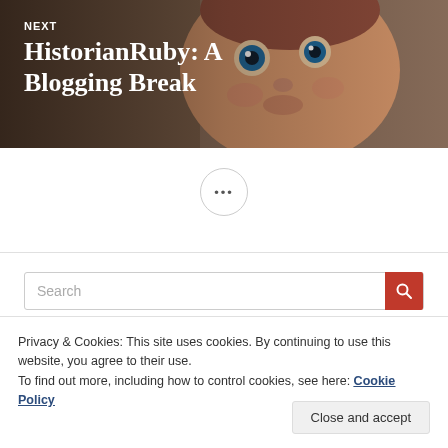[Figure (photo): Close-up photo of a baby's face with wide blue eyes, used as a blog post banner image. Text overlay reads NEXT and HistorianRuby: A Blogging Break.]
NEXT
HistorianRuby: A Blogging Break
[Figure (other): A circular button with three dots (ellipsis) indicating more content]
[Figure (screenshot): Search bar with placeholder text 'Search' and a red search icon button]
Privacy & Cookies: This site uses cookies. By continuing to use this website, you agree to their use.
To find out more, including how to control cookies, see here: Cookie Policy
Close and accept